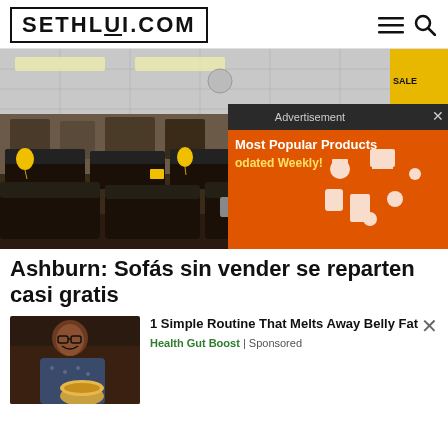SETHLUI.COM
[Figure (photo): Interior of a furniture store with dark sofas/couches arranged in rows, yellow balloons and price tags visible, drop ceiling with fluorescent lights. An orange advertisement overlay in the top-right shows 'Advertisement' header with close button, and 'Most Popular Products Updated Weekly!' text with shopping icons.]
Ashburn: Sofás sin vender se reparten casi gratis
[Figure (photo): Thumbnail of a smiling man wearing glasses and a patterned shirt, holding a bowl of food, against a dark background.]
1 Simple Routine That Melts Away Belly Fat
Health Gut Boost | Sponsored